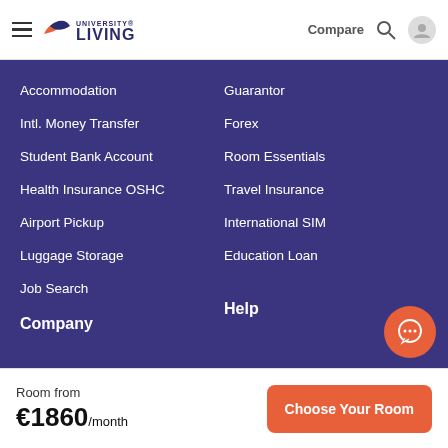University Living — Compare
Accommodation
Guarantor
Intl. Money Transfer
Forex
Student Bank Account
Room Essentials
Health Insurance OSHC
Travel Insurance
Airport Pickup
International SIM
Luggage Storage
Education Loan
Job Search
Company
Help
Room from €1860/month
Choose Your Room